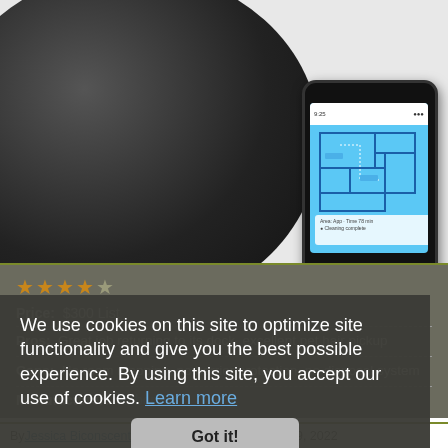[Figure (photo): Robot vacuum cleaner (black, circular) with a smartphone showing a floor map cleaning app interface]
★★★★☆
Price:  $300 List
Pros:  Great job returning to its dock, excellent pet hair pickup
Cons:  No room mapping, no barrier protection, no disposal system
Manufacturer:  Roborock
We use cookies on this site to optimize site functionality and give you the best possible experience. By using this site, you accept our use of cookies. Learn more
Got it!
By Jessica Biconscente and Benjamin Hickok · Aug 19, 2022